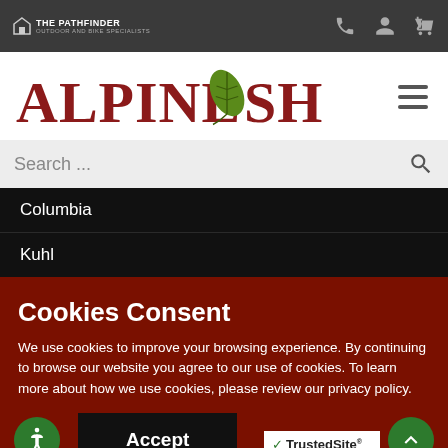The Pathfinder — Outdoor and Bike Specialists
[Figure (logo): Alpine Shop logo with leaf icon and red stylized text]
Search ...
Columbia
Kuhl
Cookies Consent
We use cookies to improve your browsing experience. By continuing to browse our website you agree to our use of cookies. To learn more about how we use cookies, please review our privacy policy.
Accept
[Figure (logo): TrustedSite Certified Secure badge]